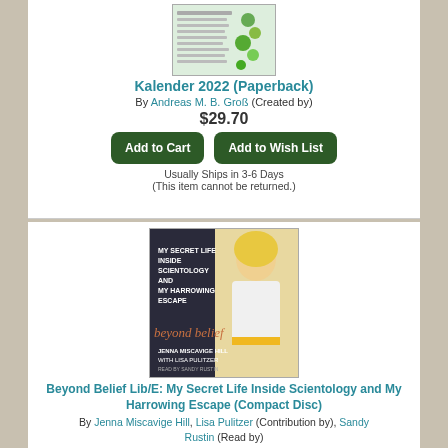[Figure (photo): Book cover image for Kalender 2022, showing a chart with green footprint icons and German text listing emotional states]
Kalender 2022 (Paperback)
By Andreas M. B. Groß (Created by)
$29.70
Add to Cart
Add to Wish List
Usually Ships in 3-6 Days
(This item cannot be returned.)
[Figure (photo): Book cover for 'Beyond Belief: My Secret Life Inside Scientology and My Harrowing Escape' by Jenna Miscavige Hill with Lisa Pulitzer, read by Sandy Rustin. Shows a young blonde girl in a white outfit.]
Beyond Belief Lib/E: My Secret Life Inside Scientology and My Harrowing Escape (Compact Disc)
By Jenna Miscavige Hill, Lisa Pulitzer (Contribution by), Sandy Rustin (Read by)